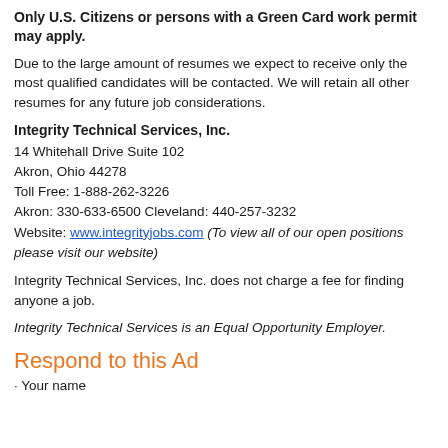Only U.S. Citizens or persons with a Green Card work permit may apply.
Due to the large amount of resumes we expect to receive only the most qualified candidates will be contacted. We will retain all other resumes for any future job considerations.
Integrity Technical Services, Inc.
14 Whitehall Drive Suite 102
Akron, Ohio 44278
Toll Free: 1-888-262-3226
Akron: 330-633-6500 Cleveland: 440-257-3232
Website: www.integrityjobs.com (To view all of our open positions please visit our website)
Integrity Technical Services, Inc. does not charge a fee for finding anyone a job.
Integrity Technical Services is an Equal Opportunity Employer.
Respond to this Ad
Your name